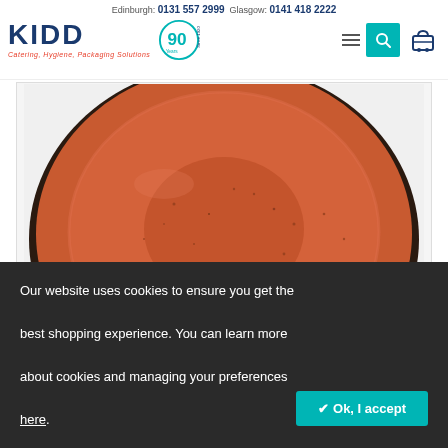Edinburgh: 0131 557 2999  Glasgow: 0141 418 2222
[Figure (logo): Kidd Catering, Hygiene, Packaging Solutions logo with 90 Years Since 1920 emblem]
[Figure (photo): Close-up of a terracotta/orange speckled ceramic plate viewed from above]
[Figure (photo): Thumbnail of the same terracotta/orange speckled ceramic plate]
Our website uses cookies to ensure you get the best shopping experience. You can learn more about cookies and managing your preferences here.